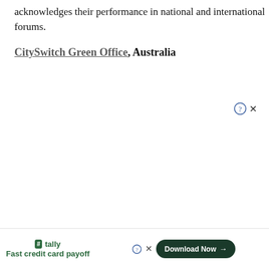acknowledges their performance in national and international forums.
CitySwitch Green Office, Australia
[Figure (other): Help/question mark icon (circled ?) and close (x) button overlay on page content]
[Figure (other): Advertisement banner: Tally app - Fast credit card payoff with Download Now button, help icon, close button, and notification bell icon]